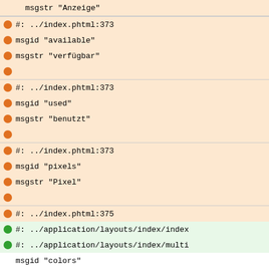msgstr "Anzeige"
#: ../index.phtml:373
msgid "available"
msgstr "verfügbar"
#: ../index.phtml:373
msgid "used"
msgstr "benutzt"
#: ../index.phtml:373
msgid "pixels"
msgstr "Pixel"
#: ../index.phtml:375
#: ../application/layouts/index/index
#: ../application/layouts/index/multi
msgid "colors"
msgstr "Farben"
#: ../index.phtml:376
msgid "N/A"
msgstr ""
#: ../application/layouts/index/index